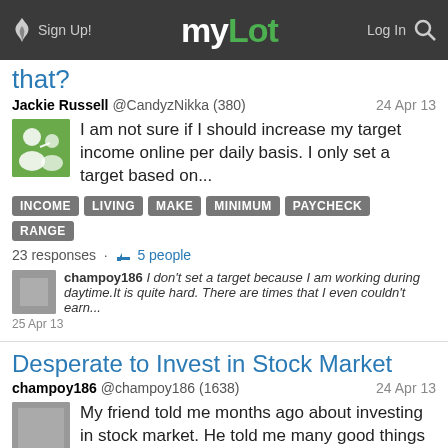myLot — Sign Up! Log In
that?
Jackie Russell @CandyzNikka (380) — 24 Apr 13
I am not sure if I should increase my target income online per daily basis. I only set a target based on...
INCOME  LIVING  MAKE  MINIMUM  PAYCHECK  RANGE
23 responses · 5 people
champoy186 I don't set a target because I am working during daytime.It is quite hard. There are times that I even couldn't earn... 25 Apr 13
Desperate to Invest in Stock Market
champoy186 @champoy186 (1638) — 24 Apr 13
My friend told me months ago about investing in stock market. He told me many good things about...
INVEST  MARKET  PSEI  STOCK
8 responses · 2 people
champoy186 Are you still investing in stock market? Could you